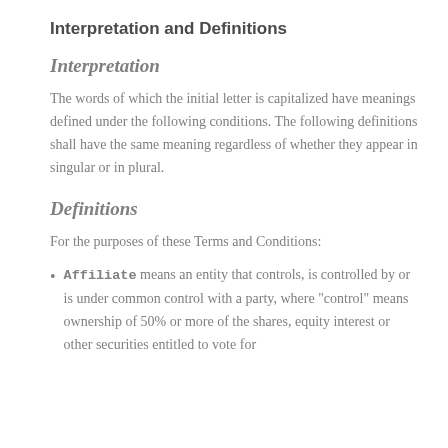Interpretation and Definitions
Interpretation
The words of which the initial letter is capitalized have meanings defined under the following conditions. The following definitions shall have the same meaning regardless of whether they appear in singular or in plural.
Definitions
For the purposes of these Terms and Conditions:
Affiliate means an entity that controls, is controlled by or is under common control with a party, where "control" means ownership of 50% or more of the shares, equity interest or other securities entitled to vote for